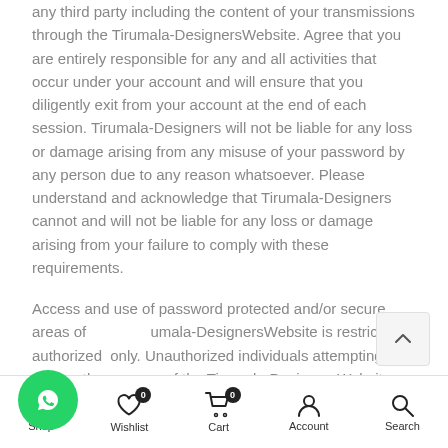any third party including the content of your transmissions through the Tirumala-DesignersWebsite. Agree that you are entirely responsible for any and all activities that occur under your account and will ensure that you diligently exit from your account at the end of each session. Tirumala-Designers will not be liable for any loss or damage arising from any misuse of your password by any person due to any reason whatsoever. Please understand and acknowledge that Tirumala-Designers cannot and will not be liable for any loss or damage arising from your failure to comply with these requirements.
Access and use of password protected and/or secure areas of Tirumala-DesignersWebsite is restricted to authorized users only. Unauthorized individuals attempting to access these areas of the Tirumala-DesignersWebsite shall be liable for criminal action and/or such other action as per applicable laws.
[Figure (other): WhatsApp contact button - green circular icon with WhatsApp logo]
[Figure (other): Scroll to top button - light grey square with upward chevron arrow]
Shop | Wishlist 0 | Cart 0 | Account | Search